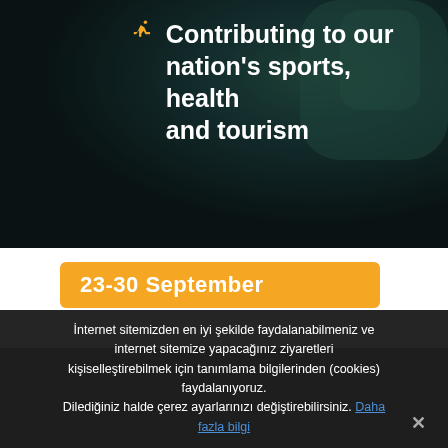[Figure (photo): Dark teal/navy background photo of a person in sports attire, partially visible]
Contributing to our nation's sports, health and tourism
23-30 September
25-27 September
27-30 September
29-30 September
İnternet sitemizden en iyi şekilde faydalanabilmeniz ve internet sitemize yapacağınız ziyaretleri kişiselleştirebilmek için tanımlama bilgilerinden (cookies) faydalanıyoruz. Dilediğiniz halde çerez ayarlarınızı değiştirebilirsiniz. Daha fazla bilgi